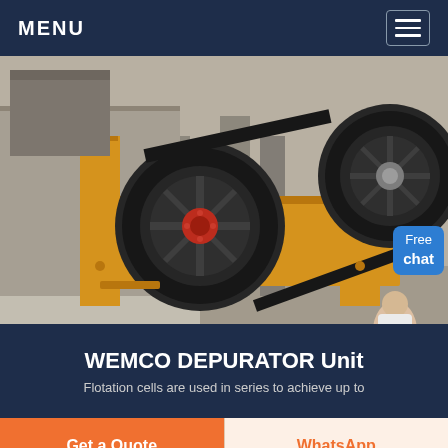MENU
[Figure (photo): Industrial jaw crusher machine with large black flywheel/pulley and yellow metal frame, photographed outdoors at a construction or mining site. A person and a 'Free chat' bubble are overlaid on the right side of the image.]
WEMCO DEPURATOR Unit
Flotation cells are used in series to achieve up to
Get a Quote
WhatsApp